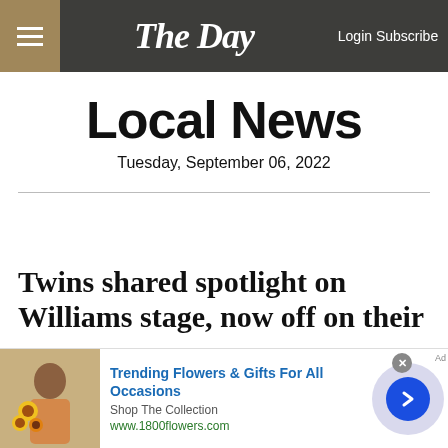The Day — Login Subscribe
Local News
Tuesday, September 06, 2022
Twins shared spotlight on Williams stage, now off on their
[Figure (infographic): Advertisement banner for 1800flowers.com showing a woman holding flowers, with text 'Trending Flowers & Gifts For All Occasions', 'Shop The Collection', 'www.1800flowers.com', and a blue arrow button]